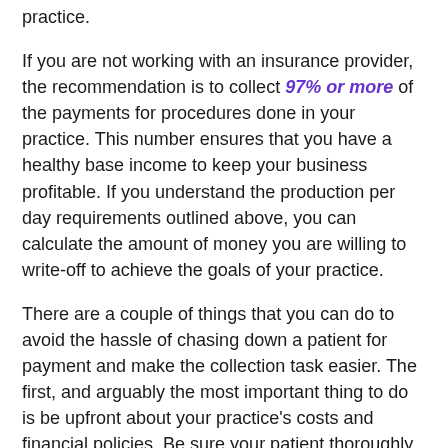practice.
If you are not working with an insurance provider, the recommendation is to collect 97% or more of the payments for procedures done in your practice. This number ensures that you have a healthy base income to keep your business profitable. If you understand the production per day requirements outlined above, you can calculate the amount of money you are willing to write-off to achieve the goals of your practice.
There are a couple of things that you can do to avoid the hassle of chasing down a patient for payment and make the collection task easier. The first, and arguably the most important thing to do is be upfront about your practice's costs and financial policies. Be sure your patient thoroughly reviews these policies and signs a financial agreement that outlines how much a patient is expected to pay and when they are required to pay it. Minimizing financial surprises not only reduces the risk of non-payment, but it also fosters a trusting relationship between the patient and your practice. If your patient trusts your practice, they are more likely to return for future procedures